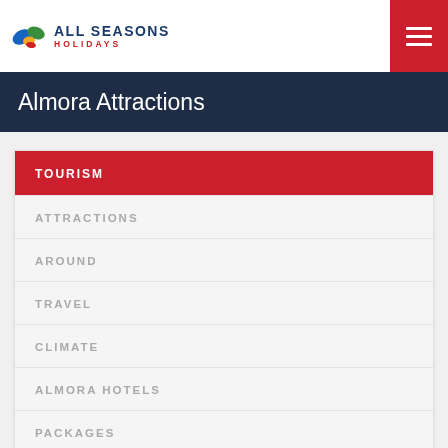[Figure (logo): All Seasons Holidays logo with colorful leaf/globe icon and text]
Almora Attractions
TOURISM
ATTRACTIONS
AROUND
TRAVEL
CLIMATE
ALMORA HOTELS
PACKAGES
[Figure (photo): Mountain range landscape with blue hazy hills and light sky]